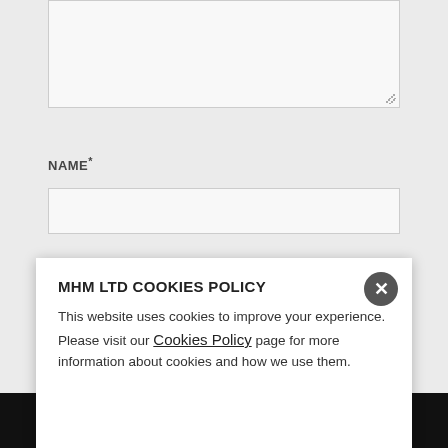[Figure (screenshot): Textarea input box at top of form, partially visible]
NAME*
[Figure (screenshot): Name text input field]
EMAIL*
[Figure (screenshot): Email text input field]
WEBSITE
[Figure (screenshot): Website text input field]
[Figure (screenshot): POST COMMENT button, partially visible behind cookie banner]
MHM LTD COOKIES POLICY
This website uses cookies to improve your experience. Please visit our Cookies Policy page for more information about cookies and how we use them.